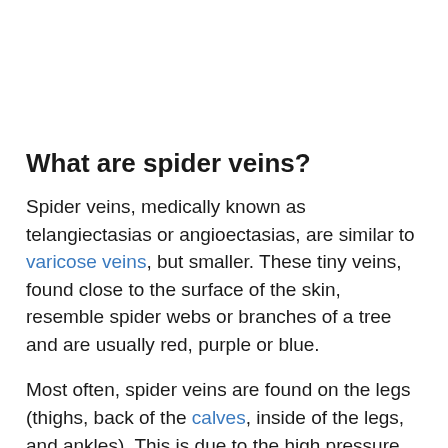What are spider veins?
Spider veins, medically known as telangiectasias or angioectasias, are similar to varicose veins, but smaller. These tiny veins, found close to the surface of the skin, resemble spider webs or branches of a tree and are usually red, purple or blue.
Most often, spider veins are found on the legs (thighs, back of the calves, inside of the legs, and ankles). This is due to the high pressure that